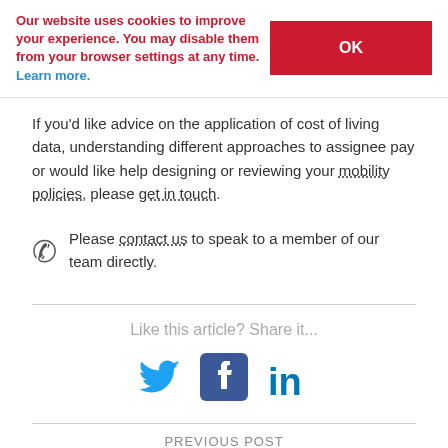Our website uses cookies to improve your experience. You may disable them from your browser settings at any time. Learn more.
If you'd like advice on the application of cost of living data, understanding different approaches to assignee pay or would like help designing or reviewing your mobility policies, please get in touch.
Please contact us to speak to a member of our team directly.
Like this article? Share it...
[Figure (infographic): Social media share icons: Twitter (bird), Facebook (f), LinkedIn (in)]
PREVIOUS POST